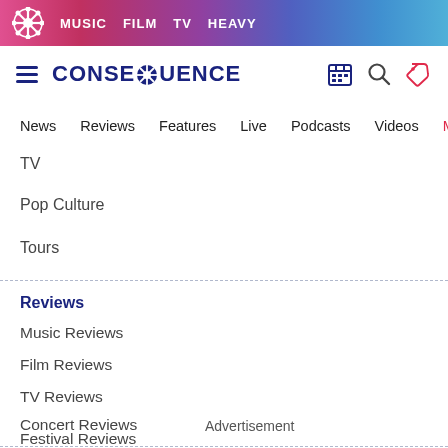MUSIC  FILM  TV  HEAVY
CONSEQUENCE
News  Reviews  Features  Live  Podcasts  Videos  Mobile A
TV
Pop Culture
Tours
Reviews
Music Reviews
Film Reviews
TV Reviews
Concert Reviews
Advertisement
Festival Reviews